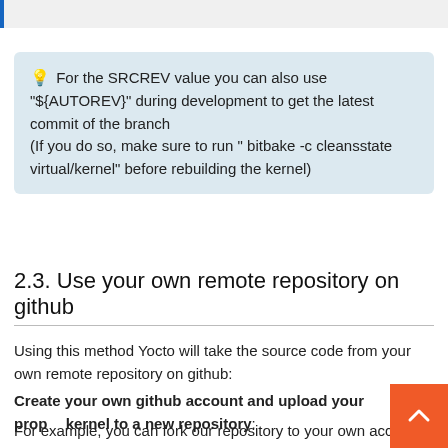For the SRCREV value you can also use "${AUTOREV}" during development to get the latest commit of the branch (If you do so, make sure to run " bitbake -c cleansstate virtual/kernel" before rebuilding the kernel)
2.3. Use your own remote repository on github
Using this method Yocto will take the source code from your own remote repository on github:
Create your own github account and upload your proper kernel to a new repository:
For example, you can fork our repository to your own account by visiting the following link and clicking on "Fork" at the top right of the screen.